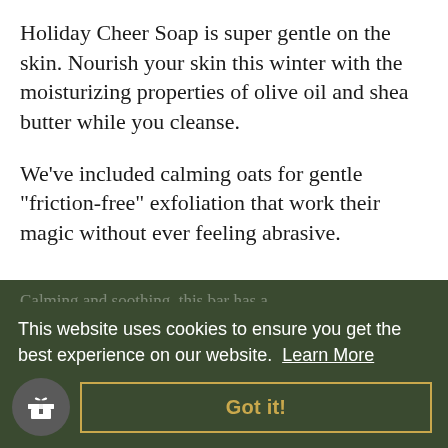Holiday Cheer Soap is super gentle on the skin. Nourish your skin this winter with the moisturizing properties of olive oil and shea butter while you cleanse.
We’ve included calming oats for gentle “friction-free” exfoliation that work their magic without ever feeling abrasive.
Calming and soothing, this bar has a [partially obscured] kin [partially obscured] crease [partially obscured] in feeling oky
This website uses cookies to ensure you get the best experience on our website. Learn More
Got it!
• nourishing olive oil and shea butter